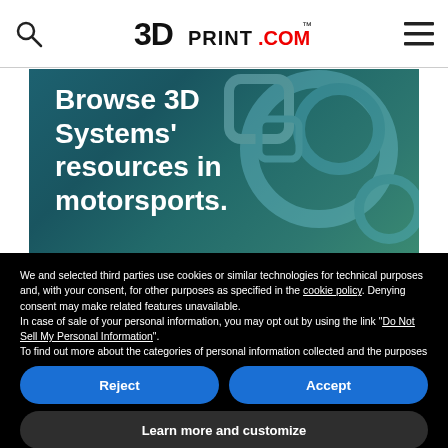3DPRINT.COM
[Figure (illustration): Hero image with teal/blue abstract background showing 3D printed objects, with white bold text overlay reading: Browse 3D Systems' resources in motorsports.]
We and selected third parties use cookies or similar technologies for technical purposes and, with your consent, for other purposes as specified in the cookie policy. Denying consent may make related features unavailable.
In case of sale of your personal information, you may opt out by using the link "Do Not Sell My Personal Information".
To find out more about the categories of personal information collected and the purposes for which such information will be used, please refer to our privacy policy.
You can consent to the use of such technologies by using the "Accept" button, by scrolling this page, by interacting with any link or button outside of this notice or by continuing to browse otherwise.
Reject
Accept
Learn more and customize